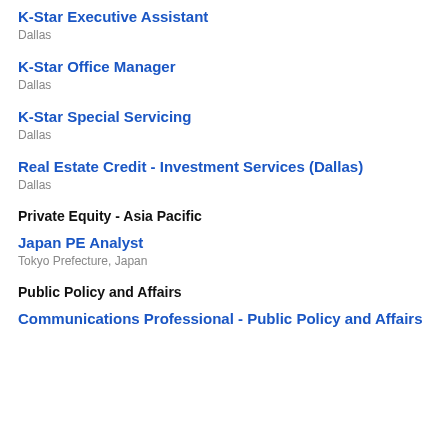K-Star Executive Assistant
Dallas
K-Star Office Manager
Dallas
K-Star Special Servicing
Dallas
Real Estate Credit - Investment Services (Dallas)
Dallas
Private Equity - Asia Pacific
Japan PE Analyst
Tokyo Prefecture, Japan
Public Policy and Affairs
Communications Professional - Public Policy and Affairs